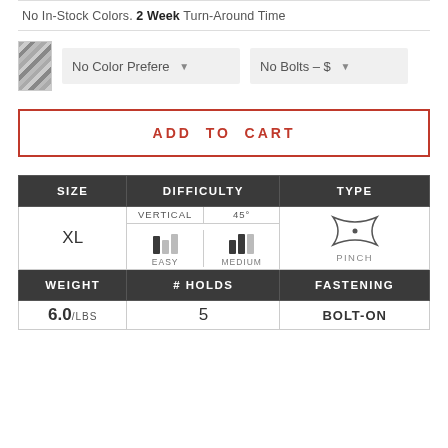No In-Stock Colors. 2 Week Turn-Around Time
[Figure (other): Color swatch with diagonal stripe pattern]
No Color Prefere ▼
No Bolts – $ ▼
ADD TO CART
| SIZE | DIFFICULTY | TYPE |
| --- | --- | --- |
| XL | VERTICAL EASY / 45° MEDIUM | PINCH |
| WEIGHT | # HOLDS | FASTENING |
| 6.0/LBS | 5 | BOLT-ON |